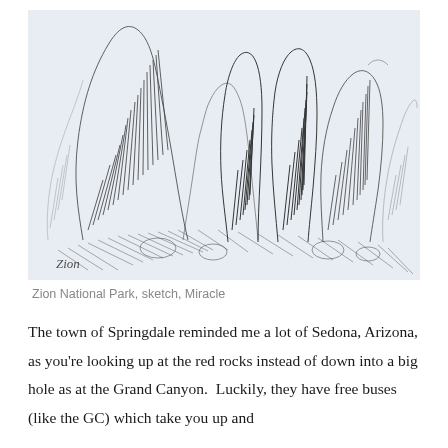[Figure (illustration): A pen-and-ink sketch of tall rock formations at Zion National Park. The drawing shows several large, jagged rock spires and cliffs rendered with hatching lines. The word 'Zion' is handwritten in the lower left corner of the sketch. The background of the image area is light blue-gray.]
Zion National Park, sketch, Miracle
The town of Springdale reminded me a lot of Sedona, Arizona, as you're looking up at the red rocks instead of down into a big hole as at the Grand Canyon.  Luckily, they have free buses (like the GC) which take you up and